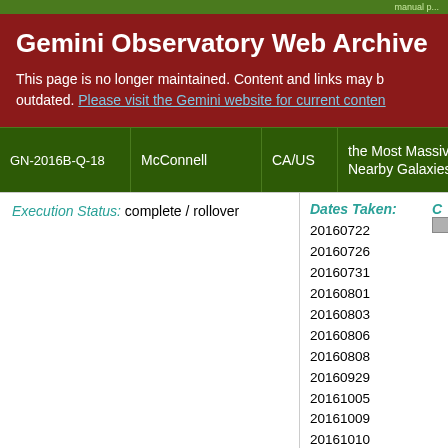manual p...
Gemini Observatory Web Archive
This page is no longer maintained. Content and links may be outdated. Please visit the Gemini website for current content
| ID | Name | Country | Description |  |
| --- | --- | --- | --- | --- |
| GN-2016B-Q-18 | McConnell | CA/US | the Most Massive Nearby Galaxies | G... |
Execution Status: complete / rollover
Dates Taken: 20160722 20160726 20160731 20160801 20160803 20160806 20160808 20160929 20161005 20161009 20161010 20161012 20161021 20161103 20161104 20161107 20161108 20161109 20161111
The Manx Comets–Testing